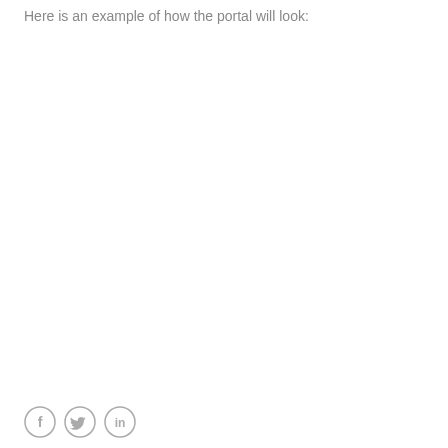Here is an example of how the portal will look:
[Figure (illustration): Three social media icons in circles at the bottom left: Facebook (f), Twitter (bird), LinkedIn (in)]